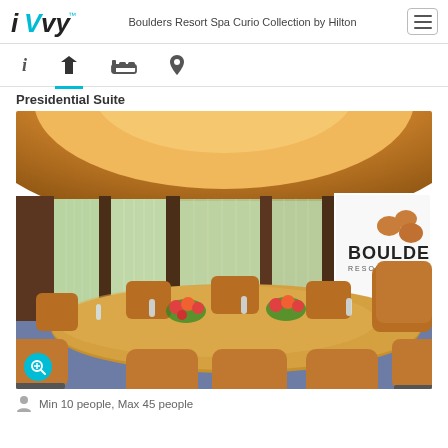iVvy — Boulders Resort Spa Curio Collection by Hilton
Presidential Suite
[Figure (photo): Presidential Suite conference room at Boulders Resort & Spa. Circular ceiling with warm amber lighting, floor-to-ceiling curtained windows, large oval wooden conference table with tan leather chairs, floral centerpieces, water bottles, and a Boulders Resort & Spa branded projection screen visible on the right.]
Min 10 people, Max 45 people